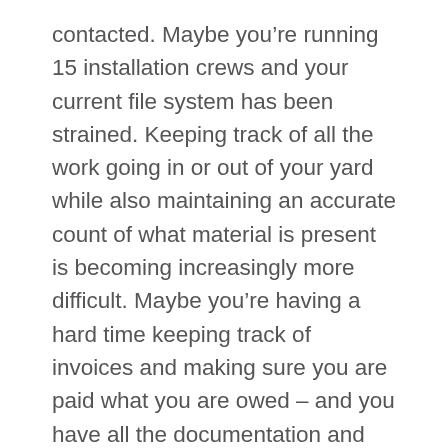contacted. Maybe you're running 15 installation crews and your current file system has been strained. Keeping track of all the work going in or out of your yard while also maintaining an accurate count of what material is present is becoming increasingly more difficult. Maybe you're having a hard time keeping track of invoices and making sure you are paid what you are owed – and you have all the documentation and proof to back this up. You're beginning to see that your employees aren't able to perform up to your expectations, and your bottom line isn't growing like it used to. While there are many positives to this (hooray for success!), you want to ensure that your company is set up to not only